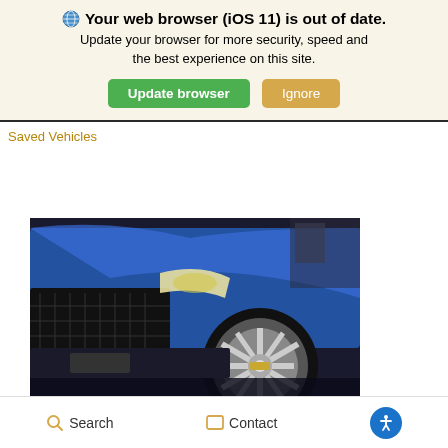Your web browser (iOS 11) is out of date. Update your browser for more security, speed and the best experience on this site. Update browser | Ignore
Saved Vehicles
[Figure (photo): Close-up photo of a blue Chevrolet car from a low angle showing the front bumper, headlight, and silver alloy wheel in what appears to be a dealership setting]
Search | Contact | Accessibility